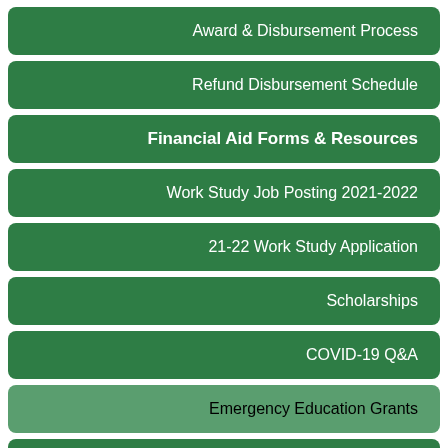Award & Disbursement Process
Refund Disbursement Schedule
Financial Aid Forms & Resources
Work Study Job Posting 2021-2022
21-22 Work Study Application
Scholarships
COVID-19 Q&A
Emergency Education Grants